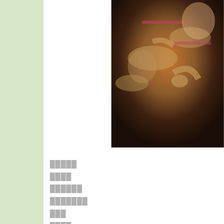[Figure (photo): People doing yoga or exercise on mats in a dim studio setting, overhead view]
█████
████
██████
███████
███
████
█████
█████
████████████
███ maikosemperviva ███: 16:49
O ███████:
████████